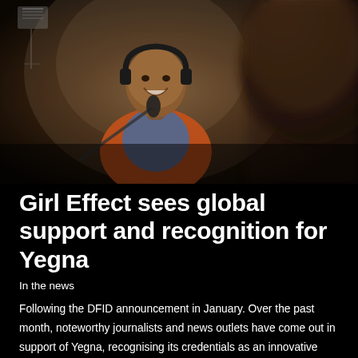[Figure (photo): A young woman wearing headphones sits at a microphone in a recording studio, smiling. She is wearing an orange cardigan over a blue patterned top. A music stand is visible in the top left. The foreground shows the blurred back of someone's head.]
Girl Effect sees global support and recognition for Yegna
In the news
Following the DFID announcement in January. Over the past month, noteworthy journalists and news outlets have come out in support of Yegna, recognising its credentials as an innovative and impactful programme driving change for girls